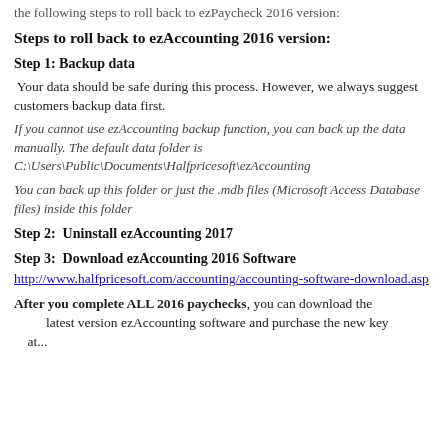the following steps to roll back to ezPaycheck 2016 version:
Steps to roll back to ezAccounting 2016 version:
Step 1: Backup data
Your data should be safe during this process. However, we always suggest customers backup data first.
If you cannot use ezAccounting backup function, you can back up the data manually. The default data folder is C:\Users\Public\Documents\Halfpricesoft\ezAccounting
You can back up this folder or just the .mdb files (Microsoft Access Database files) inside this folder
Step 2:  Uninstall ezAccounting 2017
Step 3:  Download ezAccounting 2016 Software
http://www.halfpricesoft.com/accounting/accounting-software-download.asp
After you complete ALL 2016 paychecks, you can download the latest version ezAccounting software and purchase the new key at...